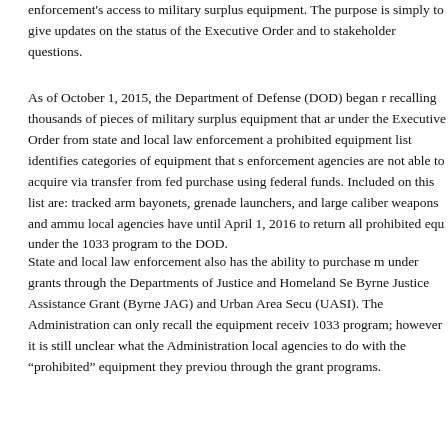enforcement's access to military surplus equipment. The purpose is simply to give updates on the status of the Executive Order and to address stakeholder questions.
As of October 1, 2015, the Department of Defense (DOD) began recalling thousands of pieces of military surplus equipment that are prohibited under the Executive Order from state and local law enforcement agencies. The prohibited equipment list identifies categories of equipment that state and local law enforcement agencies are not able to acquire via transfer from federal agencies or purchase using federal funds. Included on this list are: tracked armored vehicles, bayonets, grenade launchers, and large caliber weapons and ammunition. State and local agencies have until April 1, 2016 to return all prohibited equipment acquired under the 1033 program to the DOD.
State and local law enforcement also has the ability to purchase military equipment under grants through the Departments of Justice and Homeland Security, including the Byrne Justice Assistance Grant (Byrne JAG) and Urban Area Security Initiative (UASI).  The Administration can only recall the equipment received under the 1033 program; however it is still unclear what the Administration will ask state and local agencies to do with the “prohibited” equipment they previously purchased through the grant programs.